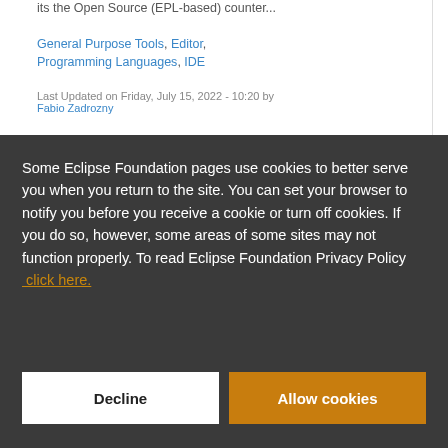its the Open Source (EPL-based) counter...
General Purpose Tools, Editor, Programming Languages, IDE
Last Updated on Friday, July 15, 2022 - 10:20 by Fabio Zadrozny
Some Eclipse Foundation pages use cookies to better serve you when you return to the site. You can set your browser to notify you before you receive a cookie or turn off cookies. If you do so, however, some areas of some sites may not function properly. To read Eclipse Foundation Privacy Policy click here.